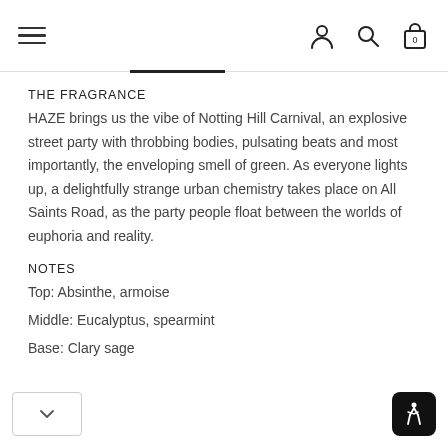Navigation bar with hamburger menu, account, search, and cart icons
THE FRAGRANCE
HAZE brings us the vibe of Notting Hill Carnival, an explosive street party with throbbing bodies, pulsating beats and most importantly, the enveloping smell of green. As everyone lights up, a delightfully strange urban chemistry takes place on All Saints Road, as the party people float between the worlds of euphoria and reality.
NOTES
Top: Absinthe, armoise
Middle: Eucalyptus, spearmint
Base: Clary sage